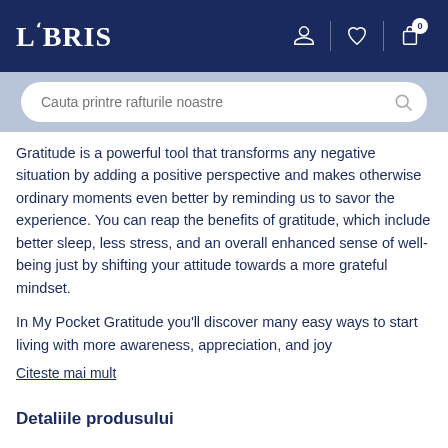LIBRIS
Cauta printre rafturile noastre
Gratitude is a powerful tool that transforms any negative situation by adding a positive perspective and makes otherwise ordinary moments even better by reminding us to savor the experience. You can reap the benefits of gratitude, which include better sleep, less stress, and an overall enhanced sense of well-being just by shifting your attitude towards a more grateful mindset.
In My Pocket Gratitude you'll discover many easy ways to start living with more awareness, appreciation, and joy
Citeste mai mult
Detaliile produsului